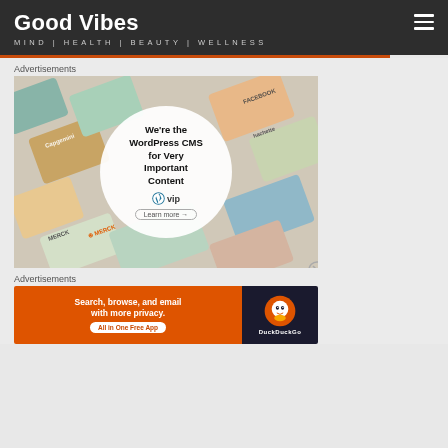Good Vibes — MIND | HEALTH | BEAUTY | WELLNESS
Advertisements
[Figure (illustration): WordPress VIP advertisement showing branded content tiles in background with a white circle overlay reading: We're the WordPress CMS for Very Important Content, with WordPress VIP logo and Learn more button]
Advertisements
[Figure (illustration): DuckDuckGo advertisement: Search, browse, and email with more privacy. All in One Free App. Orange background with DuckDuckGo logo on dark right panel.]